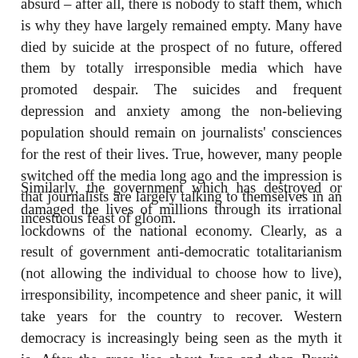absurd – after all, there is nobody to staff them, which is why they have largely remained empty. Many have died by suicide at the prospect of no future, offered them by totally irresponsible media which have promoted despair. The suicides and frequent depression and anxiety among the non-believing population should remain on journalists' consciences for the rest of their lives. True, however, many people switched off the media long ago and the impression is that journalists are largely talking to themselves in an incestuous feast of gloom.
Similarly, the government which has destroyed or damaged the lives of millions through its irrational lockdowns of the national economy. Clearly, as a result of government anti-democratic totalitarianism (not allowing the individual to choose how to live), irresponsibility, incompetence and sheer panic, it will take years for the country to recover. Western democracy is increasingly being seen as the myth it is. After the crass lies about Iraq and then Brexit, media and